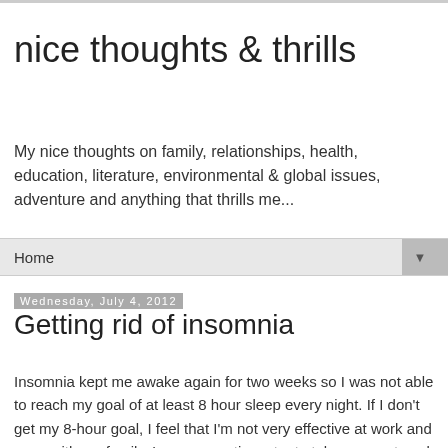nice thoughts & thrills
My nice thoughts on family, relationships, health, education, literature, environmental & global issues, adventure and anything that thrills me...
Home
Wednesday, July 4, 2012
Getting rid of insomnia
Insomnia kept me awake again for two weeks so I was not able to reach my goal of at least 8 hour sleep every night. If I don't get my 8-hour goal, I feel that I'm not very effective at work and even with my family. I even sometimes try to take a nap at work during lunch break but it doesn't help much. All I